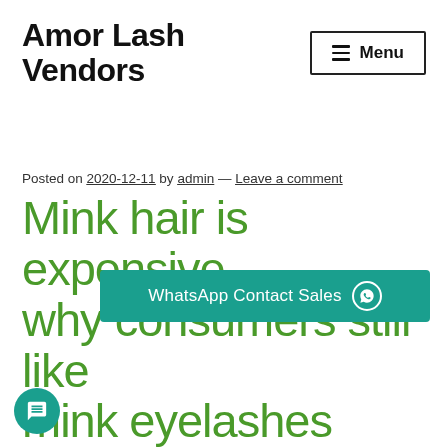Amor Lash Vendors
Posted on 2020-12-11 by admin — Leave a comment
Mink hair is expensive, why consumers still like mink eyelashes
Mink hair is expensive, why consumers still choose mink